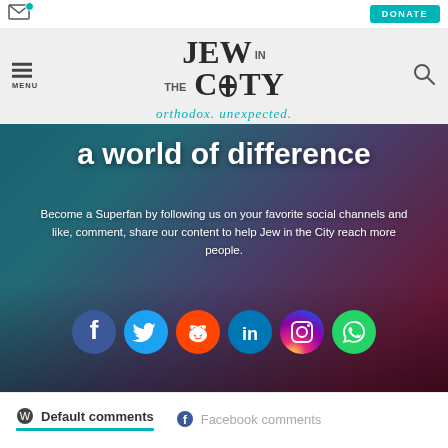Jew in the City — orthodox. unexpected. | DONATE | MENU | Search
[Figure (screenshot): Hero banner with dark teal-to-purple gradient background showing a person at a laptop. Text reads 'a world of difference'. Below: 'Become a Superfan by following us on your favorite social channels and like, comment, share our content to help Jew in the City reach more people.' Social media icons: Facebook, Twitter, Reddit, LinkedIn, Instagram, WhatsApp.]
Default comments   Facebook comments